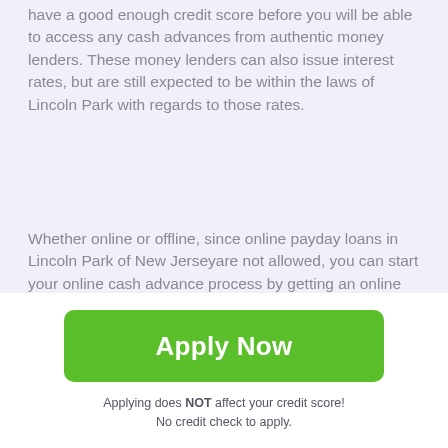have a good enough credit score before you will be able to access any cash advances from authentic money lenders. These money lenders can also issue interest rates, but are still expected to be within the laws of Lincoln Park with regards to those rates.
Whether online or offline, since online payday loans in Lincoln Park of New Jerseyare not allowed, you can start your online cash advance process by getting an online form and filling it out. This is an application process that is designed by the state to ensure that only legitimate money transactions are made within the state. This form can be filled anywhere within the state, meaning you can easily fill it at home, without inconveniencing yourself. In this form,
[Figure (other): Green 'Apply Now' button]
Applying does NOT affect your credit score!
No credit check to apply.